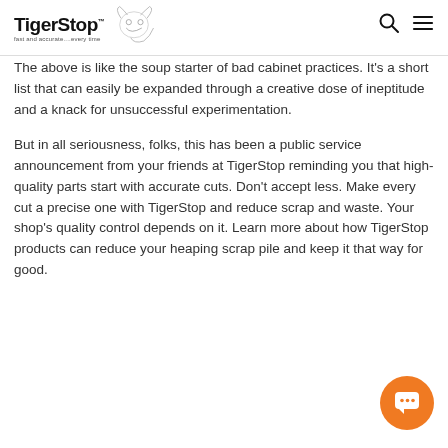TigerStop fast and accurate....every time
The above is like the soup starter of bad cabinet practices. It's a short list that can easily be expanded through a creative dose of ineptitude and a knack for unsuccessful experimentation.
But in all seriousness, folks, this has been a public service announcement from your friends at TigerStop reminding you that high-quality parts start with accurate cuts. Don't accept less. Make every cut a precise one with TigerStop and reduce scrap and waste. Your shop's quality control depends on it. Learn more about how TigerStop products can reduce your heaping scrap pile and keep it that way for good.